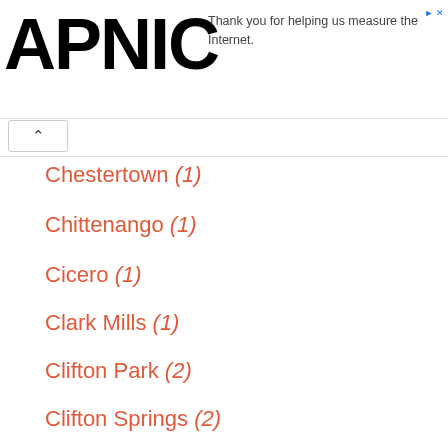APNIC — Thank you for helping us measure the Internet.
Chestertown (1)
Chittenango (1)
Cicero (1)
Clark Mills (1)
Clifton Park (2)
Clifton Springs (2)
Clymer (1)
Cobleskill (1)
Cohoes (1)
Colden (1)